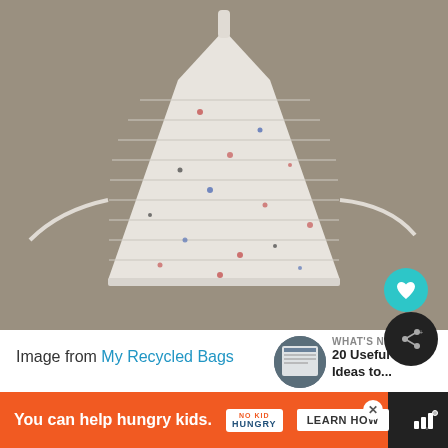[Figure (photo): A crocheted apron made from recycled plastic bags, white/cream colored with flecks of red, blue, and dark colors, laid flat on a gray surface with tie strings visible on sides and top]
Image from My Recycled Bags
[Figure (photo): Thumbnail image for 'What's Next' section showing a DIY craft book cover]
WHAT'S NEXT → 20 Useful DIY Ideas to...
You can help hungry kids.  NO KID HUNGRY  LEARN HOW